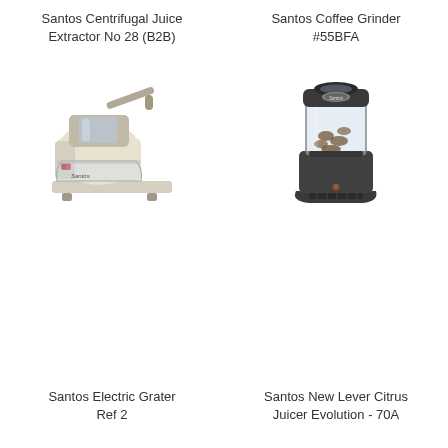Santos Centrifugal Juice Extractor No 28 (B2B)
[Figure (photo): Santos Centrifugal Juice Extractor No 28 (B2B) - cream/beige colored electric juice extractor with clear collection bowl]
Santos Coffee Grinder #55BFA
[Figure (photo): Santos Coffee Grinder #55BFA - dark grey/charcoal tall electric coffee grinder with clear bean hopper]
Santos Electric Grater Ref 2
Santos New Lever Citrus Juicer Evolution - 70A